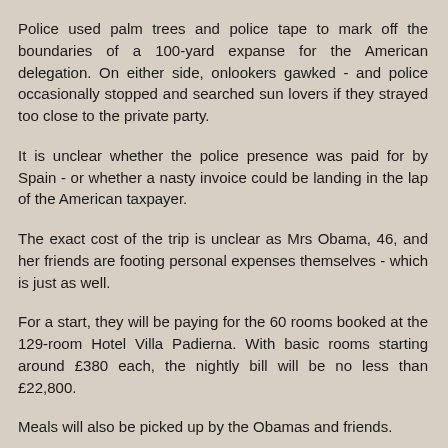Police used palm trees and police tape to mark off the boundaries of a 100-yard expanse for the American delegation. On either side, onlookers gawked - and police occasionally stopped and searched sun lovers if they strayed too close to the private party.
It is unclear whether the police presence was paid for by Spain - or whether a nasty invoice could be landing in the lap of the American taxpayer.
The exact cost of the trip is unclear as Mrs Obama, 46, and her friends are footing personal expenses themselves - which is just as well.
For a start, they will be paying for the 60 rooms booked at the 129-room Hotel Villa Padierna. With basic rooms starting around £380 each, the nightly bill will be no less than £22,800.
Meals will also be picked up by the Obamas and friends.
Reply